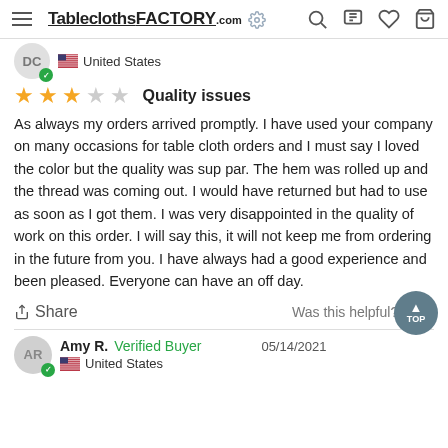TableclothsFACTORY.com
DC  United States
Quality issues
As always my orders arrived promptly. I have used your company on many occasions for table cloth orders and I must say I loved the color but the quality was sup par. The hem was rolled up and the thread was coming out. I would have returned but had to use as soon as I got them. I was very disappointed in the quality of work on this order. I will say this, it will not keep me from ordering in the future from you. I have always had a good experience and been pleased. Everyone can have an off day.
Share   Was this helpful?  👍 0
Amy R.   Verified Buyer   05/14/2021   United States